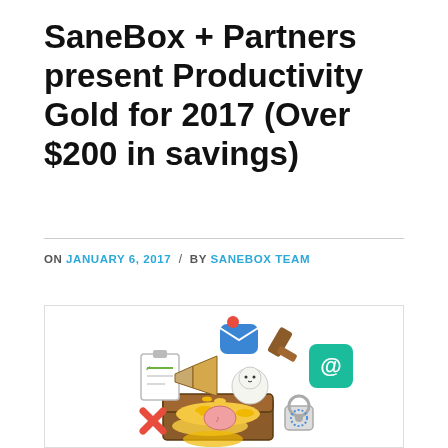SaneBox + Partners present Productivity Gold for 2017 (Over $200 in savings)
ON JANUARY 6, 2017 / BY SANEBOX TEAM
[Figure (illustration): Colorful illustration of a treasure chest overflowing with gold coins, surrounded by floating productivity-themed icons: a mail app icon with notification badge, a rubber stamp, an email client icon (teal with @ symbol), a clipboard with checklist, a megaphone, a Japanese lucky cat figure, brain with music note, a lock/padlock, and a red X mark.]